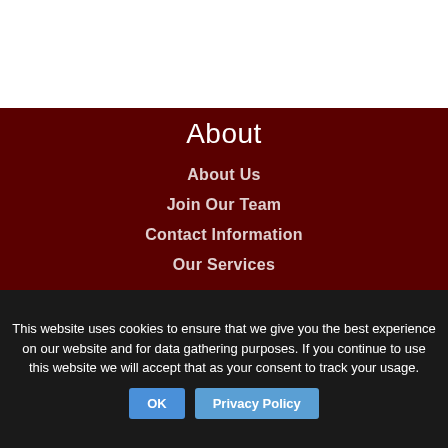About
About Us
Join Our Team
Contact Information
Our Services
Additional Info
Recently Sold Business
Helpful Information
This website uses cookies to ensure that we give you the best experience on our website and for data gathering purposes. If you continue to use this website we will accept that as your consent to track your usage.